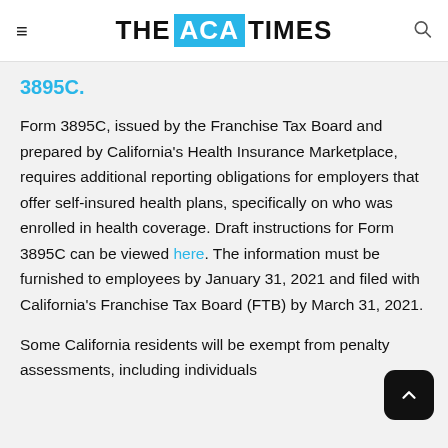THE ACA TIMES
3895C.
Form 3895C, issued by the Franchise Tax Board and prepared by California's Health Insurance Marketplace, requires additional reporting obligations for employers that offer self-insured health plans, specifically on who was enrolled in health coverage. Draft instructions for Form 3895C can be viewed here. The information must be furnished to employees by January 31, 2021 and filed with California's Franchise Tax Board (FTB) by March 31, 2021.
Some California residents will be exempt from penalty assessments, including individuals who…